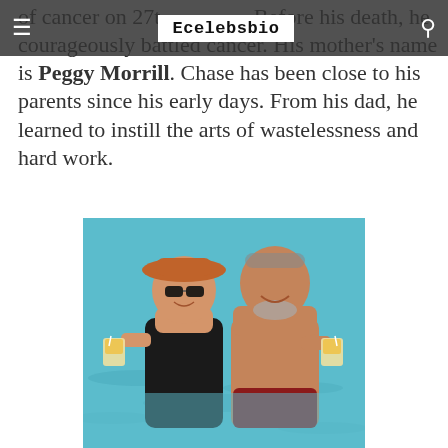Ecelebsbio
of cancer on 27th. Before his death, he courageously battled cancer. His mother's name is Peggy Morrill. Chase has been close to his parents since his early days. From his dad, he learned to instill the arts of wastelessness and hard work.
[Figure (photo): A couple standing in turquoise water, smiling and holding drinks. The woman wears a black swimsuit and an orange hat with sunglasses. The man is shirtless with a gray beard.]